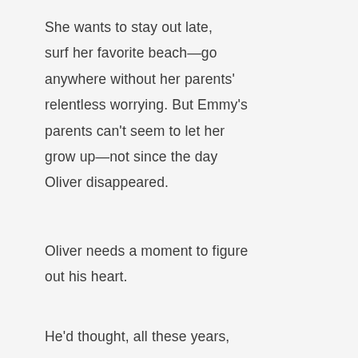She wants to stay out late, surf her favorite beach—go anywhere without her parents' relentless worrying. But Emmy's parents can't seem to let her grow up—not since the day Oliver disappeared.
Oliver needs a moment to figure out his heart.
He'd thought, all these years,